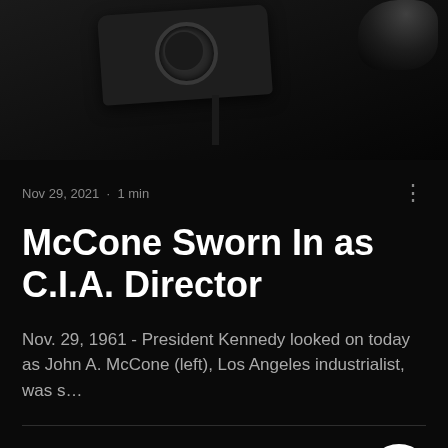[Figure (photo): Dark, moody black and white photograph of what appears to be a camera or microphone on a stand, dimly lit against a dark background.]
Nov 29, 2021  ·  1 min
McCone Sworn In as C.I.A. Director
Nov. 29, 1961 - President Kennedy looked on today as John A. McCone (left), Los Angeles industrialist, was s…